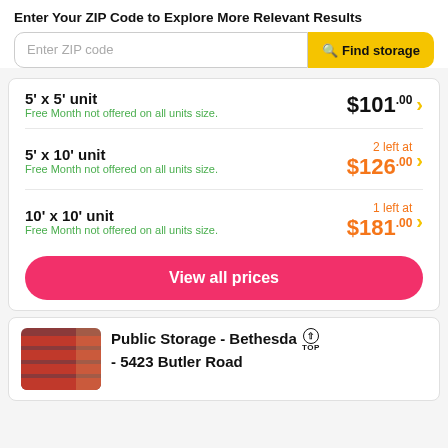Enter Your ZIP Code to Explore More Relevant Results
Enter ZIP code | Find storage
| Unit | Price |
| --- | --- |
| 5' x 5' unit
Free Month not offered on all units size. | $101.00 |
| 5' x 10' unit
Free Month not offered on all units size. | 2 left at $126.00 |
| 10' x 10' unit
Free Month not offered on all units size. | 1 left at $181.00 |
View all prices
Public Storage - Bethesda - 5423 Butler Road